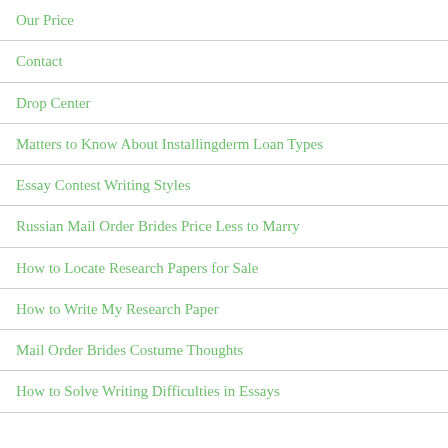Our Price
Contact
Drop Center
Matters to Know About Installingderm Loan Types
Essay Contest Writing Styles
Russian Mail Order Brides Price Less to Marry
How to Locate Research Papers for Sale
How to Write My Research Paper
Mail Order Brides Costume Thoughts
How to Solve Writing Difficulties in Essays